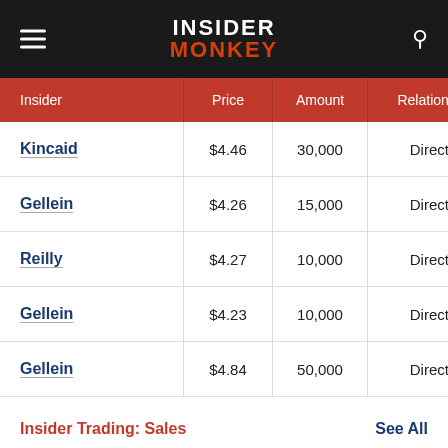INSIDER MONKEY
| Insider | Price | Amount | Relationship | Remaini |
| --- | --- | --- | --- | --- |
| Kincaid | $4.46 | 30,000 | Director |  |
| Gellein | $4.26 | 15,000 | Director |  |
| Reilly | $4.27 | 10,000 | Director |  |
| Gellein | $4.23 | 10,000 | Director |  |
| Gellein | $4.84 | 50,000 | Director |  |
Insider Trading: Sales
See All